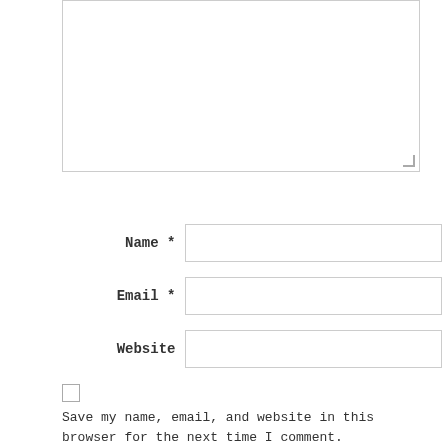[Figure (screenshot): Textarea input box (empty, with resize handle at bottom-right)]
Name *
[Figure (screenshot): Name text input field]
Email *
[Figure (screenshot): Email text input field]
Website
[Figure (screenshot): Website text input field]
[Figure (screenshot): Unchecked checkbox]
Save my name, email, and website in this browser for the next time I comment.
[Figure (screenshot): POST COMMENT button in orange]
ABOUT ME